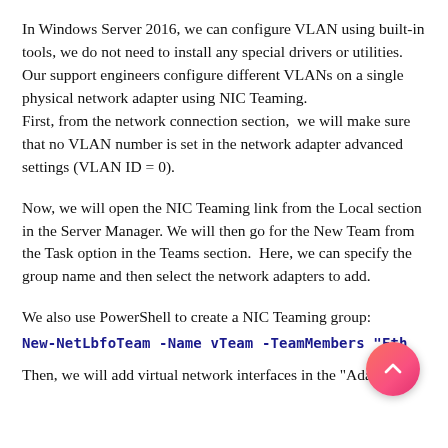In Windows Server 2016, we can configure VLAN using built-in tools, we do not need to install any special drivers or utilities.
Our support engineers configure different VLANs on a single physical network adapter using NIC Teaming.
First, from the network connection section, we will make sure that no VLAN number is set in the network adapter advanced settings (VLAN ID = 0).
Now, we will open the NIC Teaming link from the Local section in the Server Manager. We will then go for the New Team from the Task option in the Teams section. Here, we can specify the group name and then select the network adapters to add.
We also use PowerShell to create a NIC Teaming group:
New-NetLbfoTeam -Name vTeam -TeamMembers "Ethernet1","Eth
Then, we will add virtual network interfaces in the "Adapter